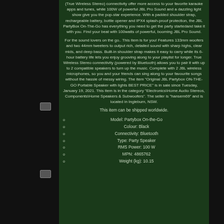(True Wireless Stereo) connectivity offer more access to your favorite karaoke apps and tunes, while 100W of powerful JBL Pro Sound and a dazzling light show give you the pop-star experience. With a padded shoulder strap, rechargeable battery, bottle opener and IPX4 splash-proof protection, the JBL PartyBox On-The-Go has everything you need to get the party startedand take it with you. Find your beat with 100watts of powerful, booming JBL Pro Sound.
For the sound lovers on the go.. This item is for you! Features 133mm woofers and two 44mm tweeters to output rich, detailed sound with sharp highs, clear mids, and deep bass. Built-in shoulder strap makes it easy to carry while its 6-hour battery life lets you enjoy grooving along to your playlist for longer. True Wireless Stereo connectivity (powered by Bluetooth) allows you to pair it with up to 2 compatible speakers to turn up the music. Complete with 2 JBL wireless microphones, so you and your friends can sing along to your favourite songs without the hassle of messy wiring. The item "Original JBL Partybox ON-THE-GO Portable Speaker with lights BEST PRICE" is in sale since Tuesday, January 19, 2021. This item is in the category "Electronics\Home Audio Stereos, Components\Home Speakers & Subwoofers". The seller is "hansem69" and is located in Ingleburn, NSW.
This item can be shipped worldwide.
Model: Partybox On-the-Go
Colour: Black
Connectivity: Bluetooth
Type: Party Speaker
RMS Power: 100 W
MPN: 4865762
Weight (kg): 10.15